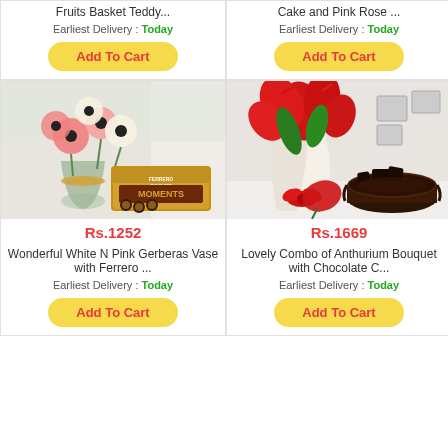Fruits Basket Teddy...
Earliest Delivery : Today
Add To Cart
Cake and Pink Rose ...
Earliest Delivery : Today
Add To Cart
[Figure (photo): Wonderful White N Pink Gerberas in vase with Ferrero Rocher Moments chocolate box]
Rs.1252
Wonderful White N Pink Gerberas Vase with Ferrero ...
Earliest Delivery : Today
Add To Cart
[Figure (photo): Lovely Combo of Anthurium Bouquet with Chocolate Cake]
Rs.1669
Lovely Combo of Anthurium Bouquet with Chocolate C...
Earliest Delivery : Today
Add To Cart